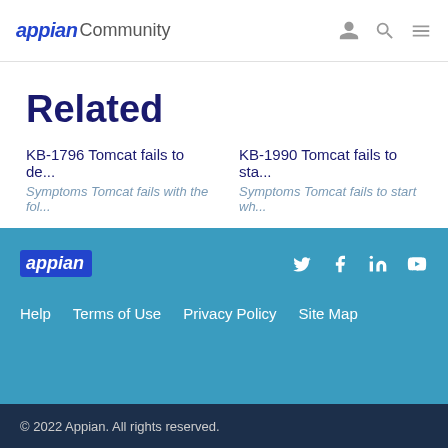appian Community
Related
KB-1796 Tomcat fails to de...
Symptoms Tomcat fails with the fol...
KB-1990 Tomcat fails to sta...
Symptoms Tomcat fails to start wh...
KB-1734 Tomcat fails to de...
Symptoms Tomcat fails to deploy A...
appian | Help | Terms of Use | Privacy Policy | Site Map | © 2022 Appian. All rights reserved.